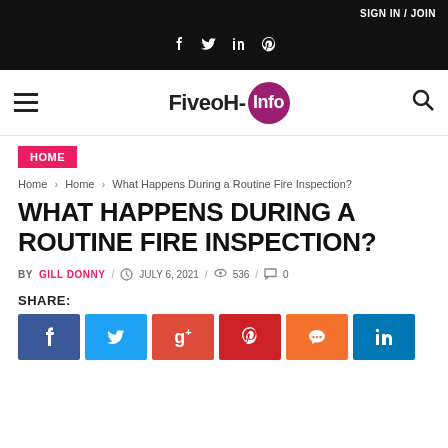SIGN IN / JOIN
[Figure (logo): FiveoH-Info website logo with magenta circle containing 'Info']
HOME
Home › Home › What Happens During a Routine Fire Inspection?
WHAT HAPPENS DURING A ROUTINE FIRE INSPECTION?
BY GILL DONNY / JULY 6, 2021 / 536 / 0
SHARE: